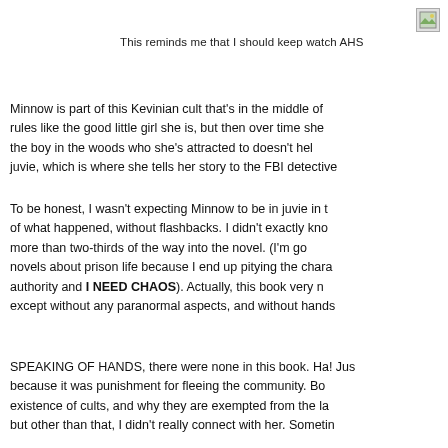[Figure (other): Small image placeholder icon in top right corner]
This reminds me that I should keep watch AHS
Minnow is part of this Kevinian cult that's in the middle of rules like the good little girl she is, but then over time she the boy in the woods who she's attracted to doesn't hel juvie, which is where she tells her story to the FBI detective
To be honest, I wasn't expecting Minnow to be in juvie in th of what happened, without flashbacks. I didn't exactly kno more than two-thirds of the way into the novel. (I'm go novels about prison life because I end up pitying the chara authority and I NEED CHAOS). Actually, this book very n except without any paranormal aspects, and without hands
SPEAKING OF HANDS, there were none in this book. Ha! Jus because it was punishment for fleeing the community. Bo existence of cults, and why they are exempted from the la but other than that, I didn't really connect with her. Sometin